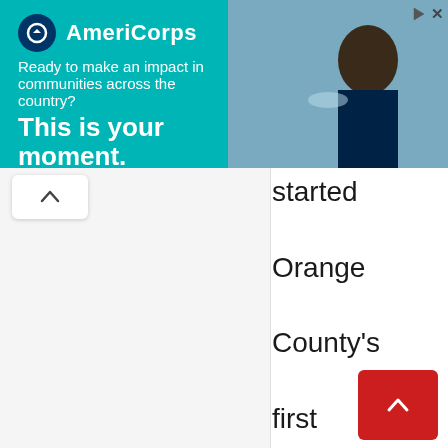[Figure (screenshot): AmeriCorps advertisement banner with teal background. Shows AmeriCorps logo, tagline 'Ready to make an impact in communities across the country?', headline 'This is your moment.' and a 'LEARN MORE' button. Photo of a person in AmeriCorps attire on the right side.]
started Orange County's first political blog, the Orange Juice, back in 2003. He now publis the top